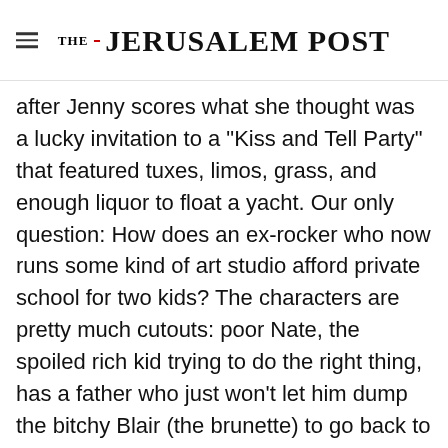THE JERUSALEM POST
after Jenny scores what she thought was a lucky invitation to a "Kiss and Tell Party" that featured tuxes, limos, grass, and enough liquor to float a yacht. Our only question: How does an ex-rocker who now runs some kind of art studio afford private school for two kids? The characters are pretty much cutouts: poor Nate, the spoiled rich kid trying to do the right thing, has a father who just won't let him dump the bitchy Blair (the brunette) to go back to Serena (the blond) - it
Advertisement